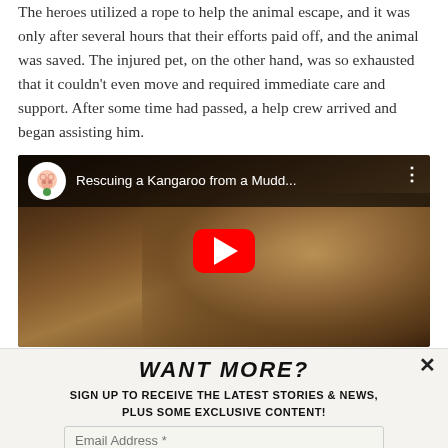The heroes utilized a rope to help the animal escape, and it was only after several hours that their efforts paid off, and the animal was saved. The injured pet, on the other hand, was so exhausted that it couldn't even move and required immediate care and support. After some time had passed, a help crew arrived and began assisting him.
[Figure (screenshot): YouTube video thumbnail showing a man holding a kangaroo, titled 'Rescuing a Kangaroo from a Mudd...' with a red play button overlay and channel icon]
WANT MORE?
SIGN UP TO RECEIVE THE LATEST STORIES & NEWS, PLUS SOME EXCLUSIVE CONTENT!
Email Address *